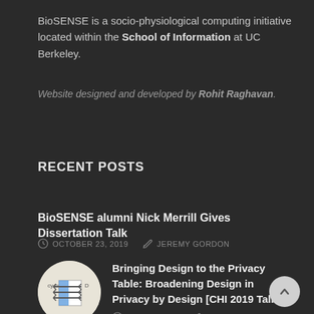BioSENSE is a socio-physiological computing initiative located within the School of Information at UC Berkeley.
Website designed and developed by Rohit Raghavan.
RECENT POSTS
BioSENSE alumni Nick Merrill Gives Dissertation Talk
OCTOBER 23, 2019  JEREMY GORDON
[Figure (illustration): Circular thumbnail image showing a diagram with horizontal arrows and two columns, partially visible labels 'cy by' and 'D']
Bringing Design to the Privacy Table: Broadening Design in Privacy by Design [CHI 2019 Talk]
MAY 10, 2019  RICHMOND WONG